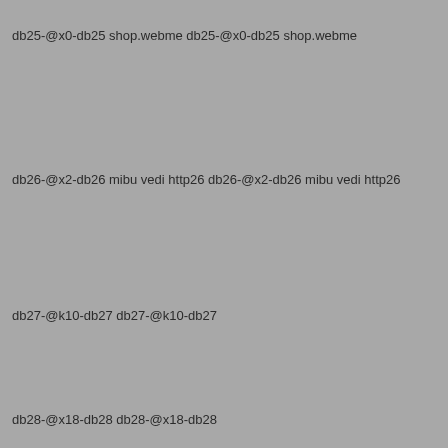db25-@x0-db25 shop.webme db25-@x0-db25 shop.webme
db26-@x2-db26 mibu vedi http26 db26-@x2-db26 mibu vedi http26
db27-@k10-db27 db27-@k10-db27
db28-@x18-db28 db28-@x18-db28